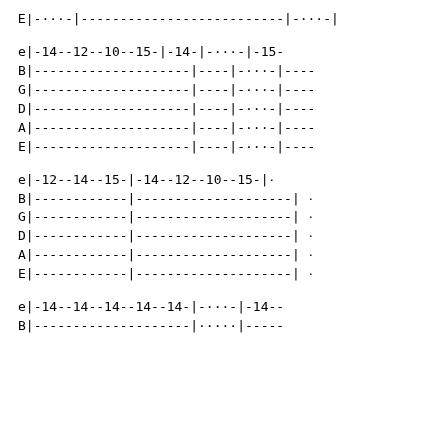E|----|--------------------------|----|
e|-14--12--10--15-|-14-|----|-15-
B|--------------------|----|----|
G|--------------------|----|----|
D|--------------------|----|----|
A|--------------------|----|----|
E|--------------------|----|----|
e|-12--14--15-|-14--12--10--15-|
B|------------|--------------------|
G|------------|--------------------|
D|------------|--------------------|
A|------------|--------------------|
E|------------|--------------------|
e|-14--14--14--14--14-|----|--14--
B|--------------------|----|-----